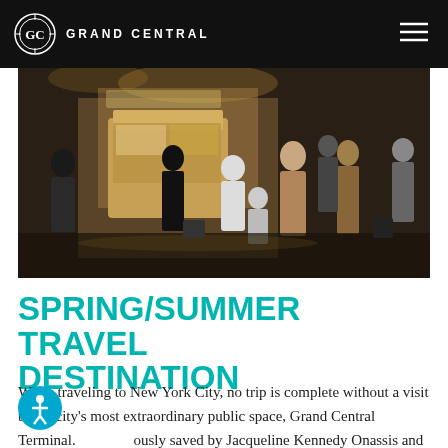GRAND CENTRAL
[Figure (photo): Busy crowd of people at Grand Central Terminal interior, warm lighting, information booth visible in background]
SPRING/SUMMER TRAVEL DESTINATION
When traveling to New York City, no trip is complete without a visit to the city's most extraordinary public space, Grand Central Terminal. [Famously] saved by Jacqueline Kennedy Onassis and rehabilitated by the MTA, Grand Central is more